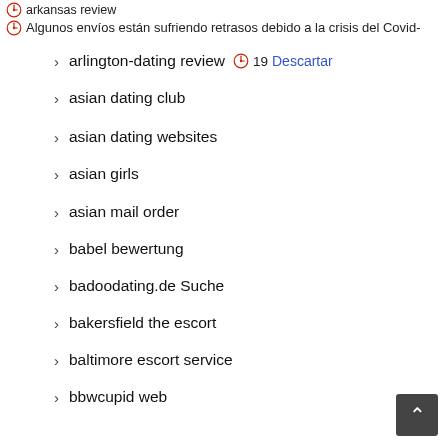arkansas review
Algunos envíos están sufriendo retrasos debido a la crisis del Covid-
arlington-dating review
19  Descartar
asian dating club
asian dating websites
asian girls
asian mail order
babel bewertung
badoodating.de Suche
bakersfield the escort
baltimore escort service
bbwcupid web
BBWDesire reviews
beautiful latin ladies
beetalk web
best online payday loans